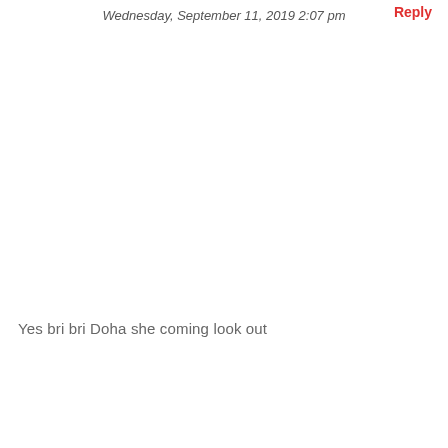Wednesday, September 11, 2019 2:07 pm
Reply
Yes bri bri Doha she coming look out